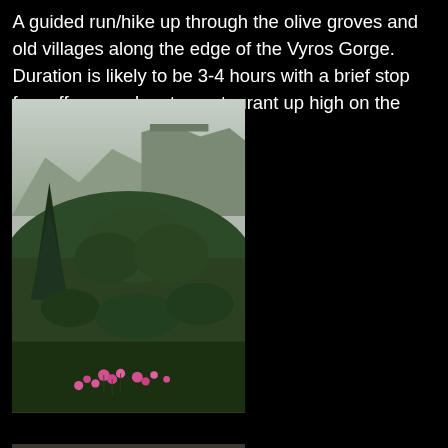A guided run/hike up through the olive groves and old villages along the edge of the Vyros Gorge. Duration is likely to be 3-4 hours with a brief stop for coffee or coke at a restaurant up high on the edge of the gorge.
[Figure (photo): Landscape photo showing a lush green gorge with trees and shrubs in the foreground, pink wildflowers at the bottom, and a dramatic rocky cliff/mountain in the background under an overcast sky.]
[Figure (photo): Partial photo visible at the bottom of the page showing a rocky gorge landscape with boulders and rocky terrain.]